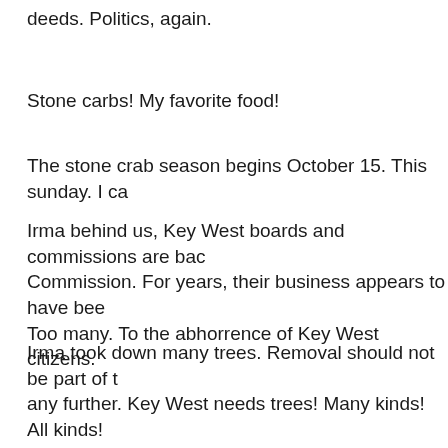deeds. Politics, again.
Stone carbs! My favorite food!
The stone crab season begins October 15. This sunday. I ca
Irma behind us, Key West boards and commissions are bac Commission. For years, their business appears to have bee Too many. To the abhorrence of Key West citizens.
Irma took down many trees. Removal should not be part of t any further. Key West needs trees! Many kinds! All kinds!
The order of the day for the Tree Commission is to preserve them.
Jenna Stauffer. My Jenna. Loveliest of the lovely. This 82 ye old Jenna to dinner. We have been friends for 9 years.